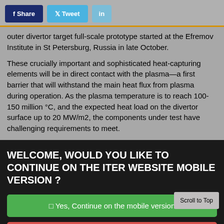outer divertor target full-scale prototype started at the Efremov Institute in St Petersburg, Russia in late October.
These crucially important and sophisticated heat-capturing elements will be in direct contact with the plasma—a first barrier that will withstand the main heat flux from plasma during operation. As the plasma temperature is to reach 100-150 million °C, and the expected heat load on the divertor surface up to 20 MW/m2, the components under test have challenging requirements to meet.
WELCOME, WOULD YOU LIKE TO CONTINUE ON THE ITER WEBSITE MOBILE VERSION ?
Yes, Continue on the mobile version
No, continue on the desktop version